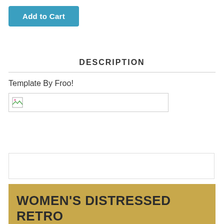[Figure (other): Add to Cart button, blue/teal color]
DESCRIPTION
Template By Froo!
[Figure (other): Broken image placeholder inside a bordered box]
[Figure (other): Empty bordered rectangle box]
[Figure (other): Gold/tan background product banner with bold text: WOMEN'S DISTRESSED RETRO BROWN SPORTY SCOOTER CROSSOVER JACKET]